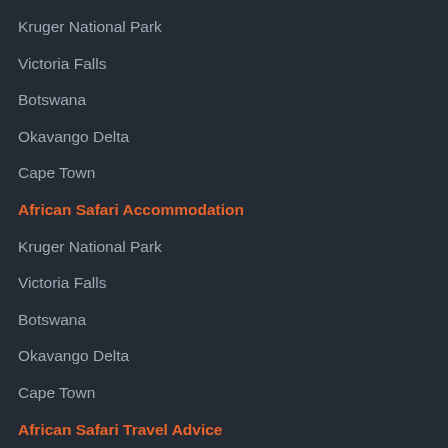Kruger National Park
Victoria Falls
Botswana
Okavango Delta
Cape Town
African Safari Accommodation
Kruger National Park
Victoria Falls
Botswana
Okavango Delta
Cape Town
African Safari Travel Advice
Comparing Safaris Before You Buy
African Safari Travel Calendars
Frequently Asked Questions
Guest feedback